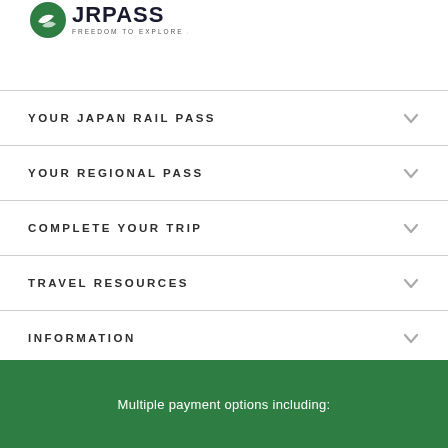[Figure (logo): JRPass logo with green circular icon and text JRPASS FREEDOM TO EXPLORE JAPAN]
YOUR JAPAN RAIL PASS
YOUR REGIONAL PASS
COMPLETE YOUR TRIP
TRAVEL RESOURCES
INFORMATION
Multiple payment options including: